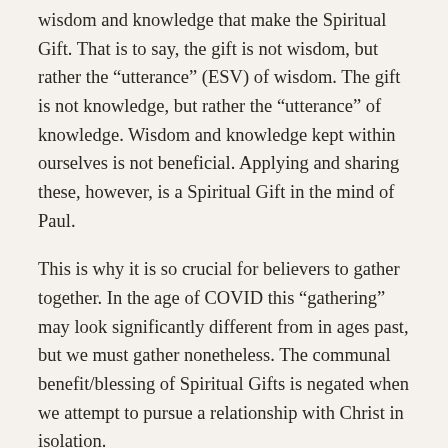wisdom and knowledge that make the Spiritual Gift. That is to say, the gift is not wisdom, but rather the “utterance” (ESV) of wisdom. The gift is not knowledge, but rather the “utterance” of knowledge. Wisdom and knowledge kept within ourselves is not beneficial. Applying and sharing these, however, is a Spiritual Gift in the mind of Paul.
This is why it is so crucial for believers to gather together. In the age of COVID this “gathering” may look significantly different from in ages past, but we must gather nonetheless. The communal benefit/blessing of Spiritual Gifts is negated when we attempt to pursue a relationship with Christ in isolation.
MEMBERS OF THE BODY